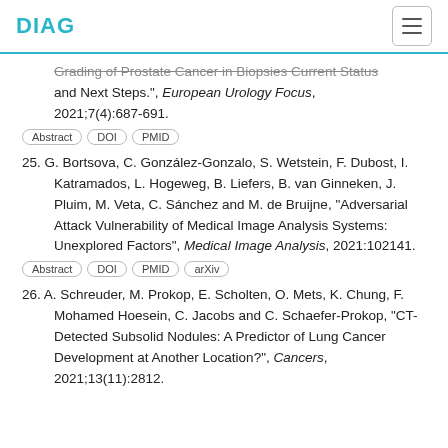DIAG
Grading of Prostate Cancer in Biopsies Current Status and Next Steps.", European Urology Focus, 2021;7(4):687-691.
Abstract DOI PMID
25. G. Bortsova, C. González-Gonzalo, S. Wetstein, F. Dubost, I. Katramados, L. Hogeweg, B. Liefers, B. van Ginneken, J. Pluim, M. Veta, C. Sánchez and M. de Bruijne, "Adversarial Attack Vulnerability of Medical Image Analysis Systems: Unexplored Factors", Medical Image Analysis, 2021:102141.
Abstract DOI PMID arXiv
26. A. Schreuder, M. Prokop, E. Scholten, O. Mets, K. Chung, F. Mohamed Hoesein, C. Jacobs and C. Schaefer-Prokop, "CT-Detected Subsolid Nodules: A Predictor of Lung Cancer Development at Another Location?", Cancers, 2021;13(11):2812.